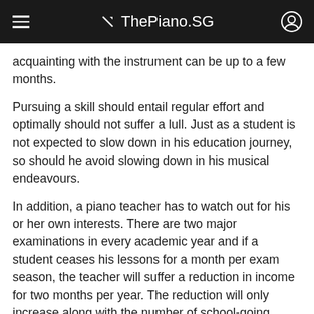ThePiano.SG
acquainting with the instrument can be up to a few months.
Pursuing a skill should entail regular effort and optimally should not suffer a lull. Just as a student is not expected to slow down in his education journey, so should he avoid slowing down in his musical endeavours.
In addition, a piano teacher has to watch out for his or her own interests. There are two major examinations in every academic year and if a student ceases his lessons for a month per exam season, the teacher will suffer a reduction in income for two months per year. The reduction will only increase along with the number of school-going students the teacher accepts.
Many piano teachers are self-employed and thus do not enjoy benefits like CPF contributions from an employer, paid leave, medical rebates, maternity or paternity leave, or